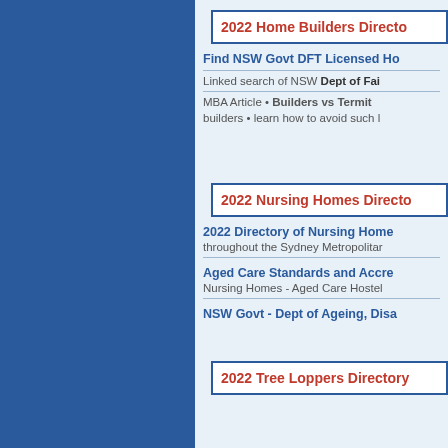2022 Home Builders Directory
Find NSW Govt DFT Licensed Ho...
Linked search of NSW Dept of Fair...
MBA Article • Builders vs Termit... builders • learn how to avoid such l...
2022 Nursing Homes Directory
2022 Directory of Nursing Home... throughout the Sydney Metropolitar...
Aged Care Standards and Accre... Nursing Homes - Aged Care Hostel...
NSW Govt - Dept of Ageing, Disa...
2022 Tree Loppers Directory